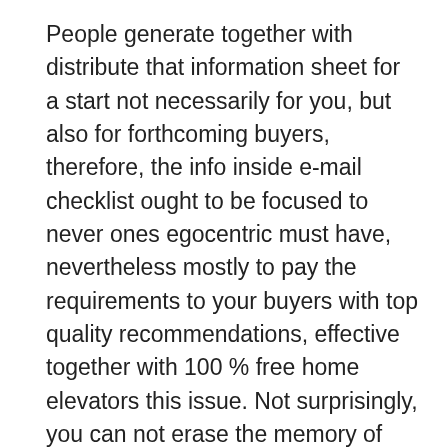People generate together with distribute that information sheet for a start not necessarily for you, but also for forthcoming buyers, therefore, the info inside e-mail checklist ought to be focused to never ones egocentric must have, nevertheless mostly to pay the requirements to your buyers with top quality recommendations, effective together with 100 % free home elevators this issue. Not surprisingly, you can not erase the memory of one self, beginning with that ballpark to your passions, competencies together with resourcefulness, nevertheless almost the entire package ought to be sharp to resolve serious troubles together with fulfill the must have with buyers to your subsciber lists. This can be the just process you will find yourself prized together with respected.